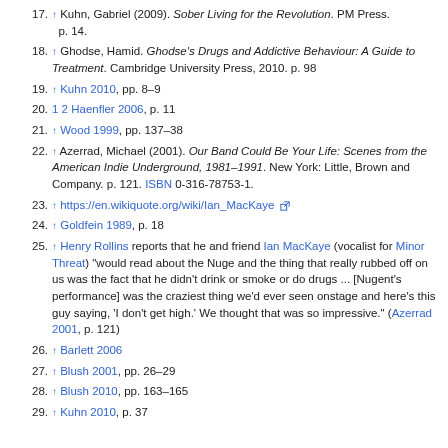17. ↑ Kuhn, Gabriel (2009). Sober Living for the Revolution. PM Press. p. 14.
18. ↑ Ghodse, Hamid. Ghodse's Drugs and Addictive Behaviour: A Guide to Treatment. Cambridge University Press, 2010. p. 98
19. ↑ Kuhn 2010, pp. 8–9
20. 1 2 Haenfler 2006, p. 11
21. ↑ Wood 1999, pp. 137–38
22. ↑ Azerrad, Michael (2001). Our Band Could Be Your Life: Scenes from the American Indie Underground, 1981–1991. New York: Little, Brown and Company. p. 121. ISBN 0-316-78753-1.
23. ↑ https://en.wikiquote.org/wiki/Ian_MacKaye
24. ↑ Goldfein 1989, p. 18
25. ↑ Henry Rollins reports that he and friend Ian MacKaye (vocalist for Minor Threat) "would read about the Nuge and the thing that really rubbed off on us was the fact that he didn't drink or smoke or do drugs ... [Nugent's performance] was the craziest thing we'd ever seen onstage and here's this guy saying, 'I don't get high.' We thought that was so impressive." (Azerrad 2001, p. 121)
26. ↑ Barlett 2006
27. ↑ Blush 2001, pp. 26–29
28. ↑ Blush 2010, pp. 163–165
29. ↑ Kuhn 2010, p. 37